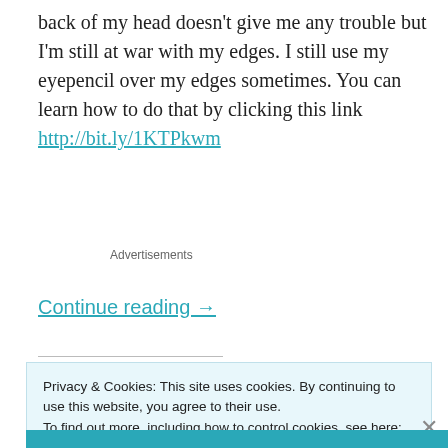back of my head doesn't give me any trouble but I'm still at war with my edges. I still use my eyepencil over my edges sometimes. You can learn how to do that by clicking this link http://bit.ly/1KTPkwm
Advertisements
Continue reading →
Privacy & Cookies: This site uses cookies. By continuing to use this website, you agree to their use.
To find out more, including how to control cookies, see here: Cookie Policy
Close and accept